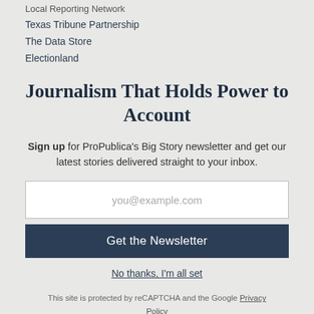Local Reporting Network
Texas Tribune Partnership
The Data Store
Electionland
Journalism That Holds Power to Account
Sign up for ProPublica's Big Story newsletter and get our latest stories delivered straight to your inbox.
you@example.com
Get the Newsletter
No thanks, I'm all set
This site is protected by reCAPTCHA and the Google Privacy Policy and Terms of Service apply.